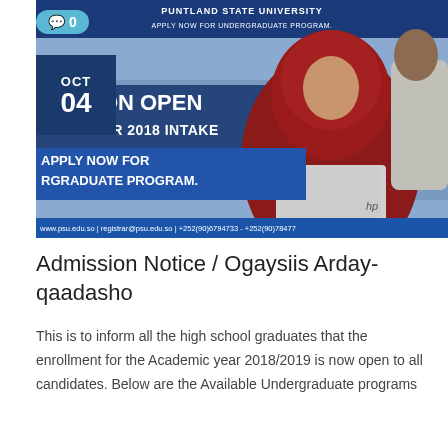[Figure (photo): Puntland State University admission banner showing two students with a laptop, with text 'ADMISSION OPEN SEPTEMBER 2018 INTAKE APPLY NOW FOR UNDERGRADUATE PROGRAM' and contact info at bottom]
Admission Notice / Ogaysiis Arday-qaadasho
This is to inform all the high school graduates that the enrollment for the Academic year 2018/2019 is now open to all candidates. Below are the Available Undergraduate programs